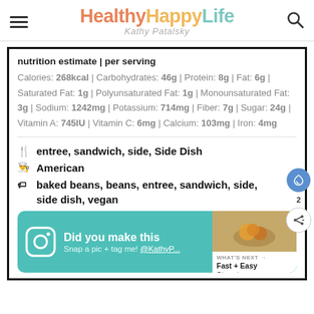HealthyHappyLife — Kathy Patalsky
nutrition estimate | per serving
Calories: 268kcal | Carbohydrates: 46g | Protein: 8g | Fat: 6g | Saturated Fat: 1g | Polyunsaturated Fat: 1g | Monounsaturated Fat: 3g | Sodium: 1242mg | Potassium: 714mg | Fiber: 7g | Sugar: 24g | Vitamin A: 745IU | Vitamin C: 6mg | Calcium: 103mg | Iron: 4mg
entree, sandwich, side, Side Dish
American
baked beans, beans, entree, sandwich, side, side dish, vegan
[Figure (infographic): Instagram call-to-action banner in teal: Did you make this? Snap a pic + tag me! @KathyP... with Instagram icon. Overlaid What's Next card showing Fast + Easy Stovetop...]